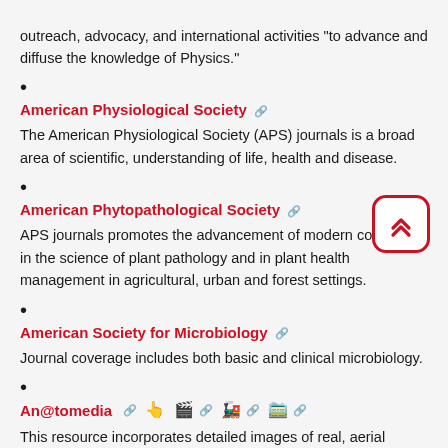outreach, advocacy, and international activities "to advance and diffuse the knowledge of Physics."
American Physiological Society — The American Physiological Society (APS) journals is a broad area of scientific, understanding of life, health and disease.
American Phytopathological Society — APS journals promotes the advancement of modern concepts in the science of plant pathology and in plant health management in agricultural, urban and forest settings.
American Society for Microbiology — Journal coverage includes both basic and clinical microbiology.
An@tomedia — This resource incorporates detailed images of real, aerial...